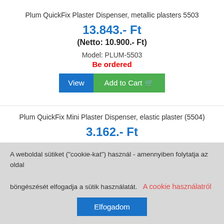Plum QuickFix Plaster Dispenser, metallic plasters 5503
13.843.- Ft
(Netto: 10.900.- Ft)
Model: PLUM-5503
Be ordered
View  Add to Cart
Plum QuickFix Mini Plaster Dispenser, elastic plaster (5504)
3.162.- Ft
A weboldal sütiket ("cookie-kat") használ - amennyiben folytatja az oldal böngészését elfogadja a sütik használatát.  A cookie használatról
Elfogadom